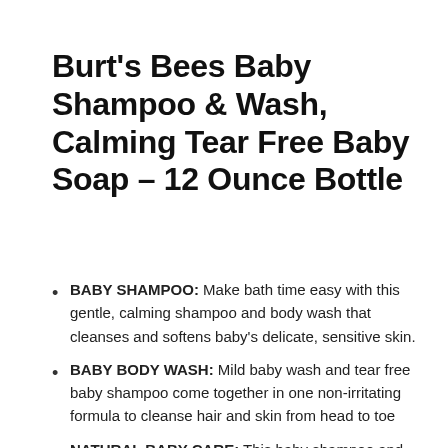Burt's Bees Baby Shampoo & Wash, Calming Tear Free Baby Soap – 12 Ounce Bottle
BABY SHAMPOO: Make bath time easy with this gentle, calming shampoo and body wash that cleanses and softens baby's delicate, sensitive skin.
BABY BODY WASH: Mild baby wash and tear free baby shampoo come together in one non-irritating formula to cleanse hair and skin from head to toe
NATURAL BABY CARE: This baby shampoo and body wash has a natural plant based cleansing complex with